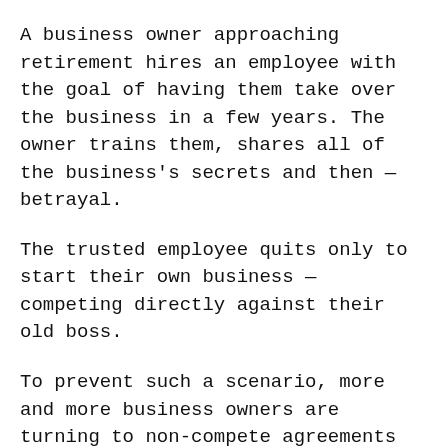A business owner approaching retirement hires an employee with the goal of having them take over the business in a few years. The owner trains them, shares all of the business's secrets and then — betrayal.
The trusted employee quits only to start their own business — competing directly against their old boss.
To prevent such a scenario, more and more business owners are turning to non-compete agreements when they hire new employees. They are intended to help businesses keep trade secrets and proprietary information from falling into the hands of a competitor.
"We would like to see more of them